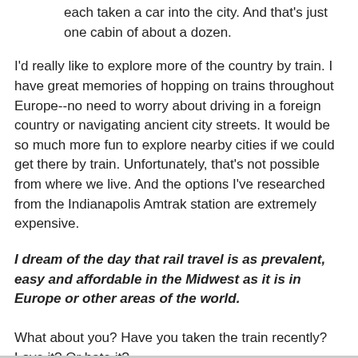each taken a car into the city. And that's just one cabin of about a dozen.
I'd really like to explore more of the country by train. I have great memories of hopping on trains throughout Europe--no need to worry about driving in a foreign country or navigating ancient city streets. It would be so much more fun to explore nearby cities if we could get there by train. Unfortunately, that's not possible from where we live. And the options I've researched from the Indianapolis Amtrak station are extremely expensive.
I dream of the day that rail travel is as prevalent, easy and affordable in the Midwest as it is in Europe or other areas of the world.
What about you? Have you taken the train recently? Love it? Or hate it?
This post is a part of Mondays are for Dreaming at The Mother of All Trips and Top Ten Tuesday at Oh Amanda.